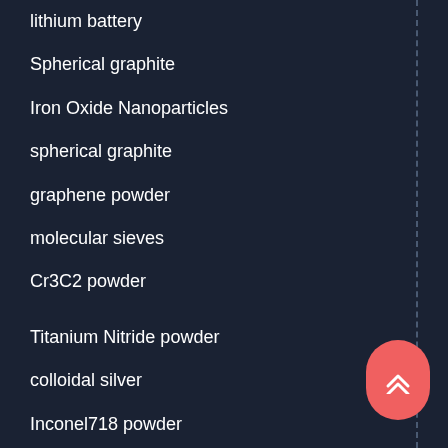lithium battery
Spherical graphite
Iron Oxide Nanoparticles
spherical graphite
graphene powder
molecular sieves
Cr3C2 powder
Titanium Nitride powder
colloidal silver
Inconel718 powder
Nanodiamond Powder
Nano diamond Powder
water reducing agent